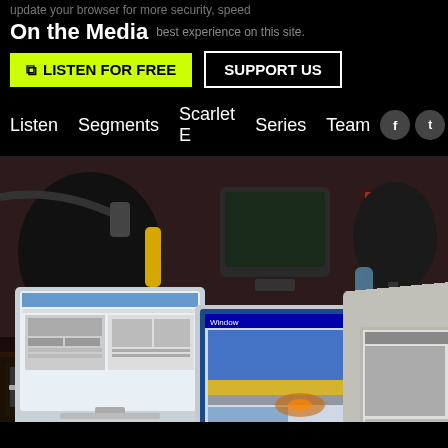update your browser for more security, speed
On the Media
best experience on this site. Update Browser
LISTEN FOR FREE   SUPPORT US
Listen   Segments   Scarlet E   Series   Team
[Figure (photo): Radio studio with multiple computer monitors showing websites, mixing board/audio console in foreground, microphones, various broadcast equipment in a cluttered studio environment]